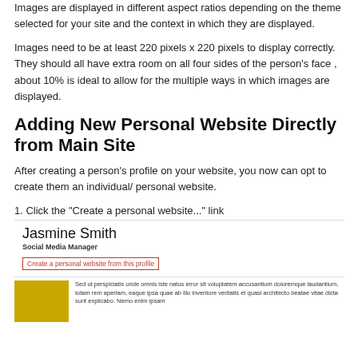Images are displayed in different aspect ratios depending on the theme selected for your site and the context in which they are displayed.
Images need to be at least 220 pixels x 220 pixels to display correctly. They should all have extra room on all four sides of the person's face , about 10% is ideal to allow for the multiple ways in which images are displayed.
Adding New Personal Website Directly from Main Site
After creating a person's profile on your website, you now can opt to create them an individual/ personal website.
1. Click the "Create a personal website..." link
[Figure (screenshot): Profile card showing 'Jasmine Smith', Social Media Manager, with a red-bordered link 'Create a personal website from this profile']
[Figure (screenshot): Screenshot row with a yellow/brown image thumbnail on the left and small lorem ipsum text on the right]